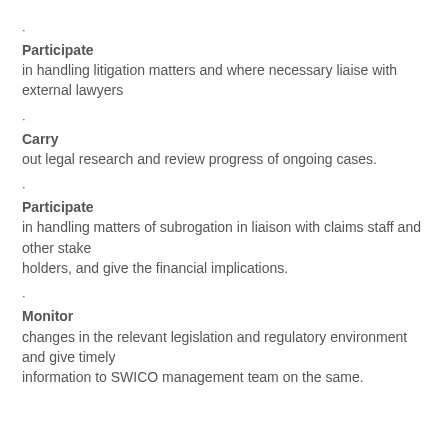Participate in handling litigation matters and where necessary liaise with external lawyers
Carry out legal research and review progress of ongoing cases.
Participate in handling matters of subrogation in liaison with claims staff and other stake holders, and give the financial implications.
Monitor changes in the relevant legislation and regulatory environment and give timely information to SWICO management team on the same.